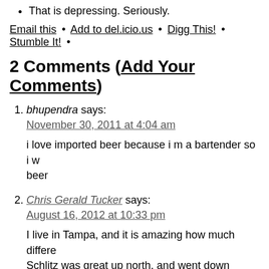That is depressing. Seriously.
Email this • Add to del.icio.us • Digg This! • Stumble It! •
2 Comments (Add Your Comments)
bhupendra says:
November 30, 2011 at 4:04 am
i love imported beer because i m a bartender so i w... beer
Chris Gerald Tucker says:
August 16, 2012 at 10:33 pm
I live in Tampa, and it is amazing how much differe... Schlitz was great up north, and went down clean. But brewed here in Tampa, it tasted like soup made... Thanks for a great article!